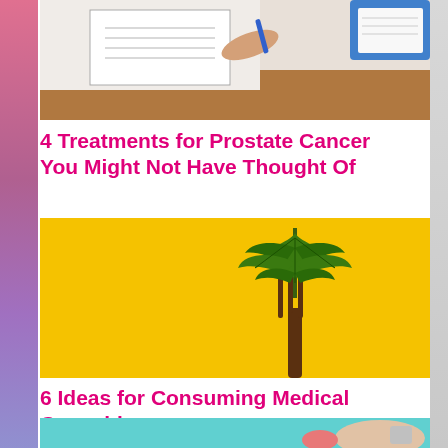[Figure (photo): Top portion of image showing a person in white coat writing on a clipboard/medical form, brown desk surface visible, with blue clipboard in upper right]
4 Treatments for Prostate Cancer You Might Not Have Thought Of
[Figure (photo): A cannabis leaf placed on the tines of a fork, set against a bright yellow background]
6 Ideas for Consuming Medical Cannabis
[Figure (photo): Partial bottom image showing hands on a teal/turquoise background, appearing to hold a medical device or pill]